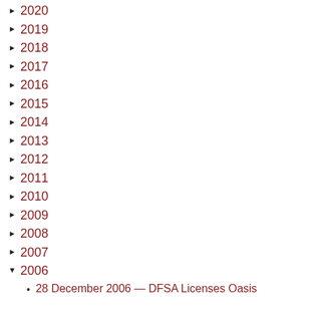2020
2019
2018
2017
2016
2015
2014
2013
2012
2011
2010
2009
2008
2007
2006
28 December 2006 — DFSA Licenses Oasis